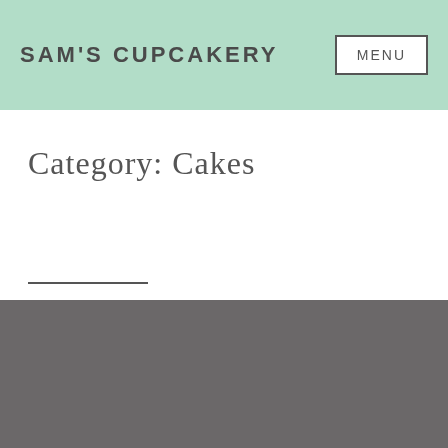SAM'S CUPCAKERY
Category: Cakes
[Figure (other): Gray content area placeholder]